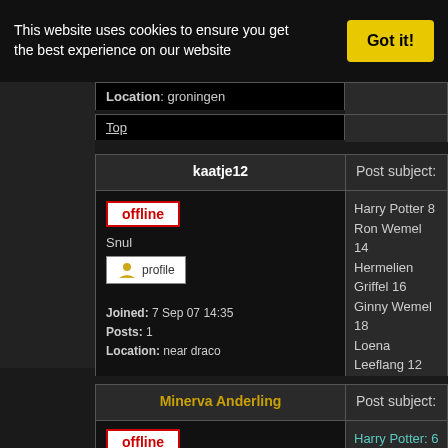This website uses cookies to ensure you get the best experience on our website
Got it!
Location: groningen
Top
kaatje12
Post subject:
offline
Snul
profile
Joined: 7 Sep 07 14:35
Posts: 1
Location: near draco
Harry Potter 8
Ron Wemel 14
Hermelien Griffel 16
Ginny Wemel 18
Loena Leeflang 12

hurt: Harry potter
heal:loena leeflang

Why is heaven so close
Dit is een top site !
Top
Minerva Anderling
Post subject:
offline
Harry Potter: 6
Ron Wemel: 14